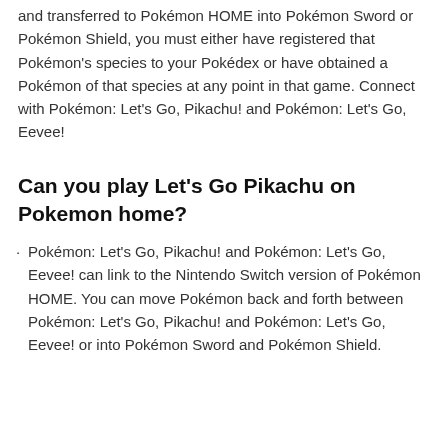and transferred to Pokémon HOME into Pokémon Sword or Pokémon Shield, you must either have registered that Pokémon's species to your Pokédex or have obtained a Pokémon of that species at any point in that game. Connect with Pokémon: Let's Go, Pikachu! and Pokémon: Let's Go, Eevee!
Can you play Let's Go Pikachu on Pokemon home?
Pokémon: Let's Go, Pikachu! and Pokémon: Let's Go, Eevee! can link to the Nintendo Switch version of Pokémon HOME. You can move Pokémon back and forth between Pokémon: Let's Go, Pikachu! and Pokémon: Let's Go, Eevee! or into Pokémon Sword and Pokémon Shield.